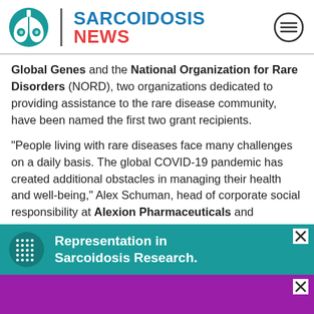SARCOIDOSIS NEWS
Global Genes and the National Organization for Rare Disorders (NORD), two organizations dedicated to providing assistance to the rare disease community, have been named the first two grant recipients.
“People living with rare diseases face many challenges on a daily basis. The global COVID-19 pandemic has created additional obstacles in managing their health and well-being,” Alex Schuman, head of corporate social responsibility at Alexion Pharmaceuticals and president of the Alexion Charitable Foundation, said in a press release
[Figure (infographic): Teal advertisement banner: dotted pattern icon on left, white text 'Representation in Sarcoidosis Research.' with X close button]
[Figure (infographic): Purple advertisement banner at bottom with X close button]